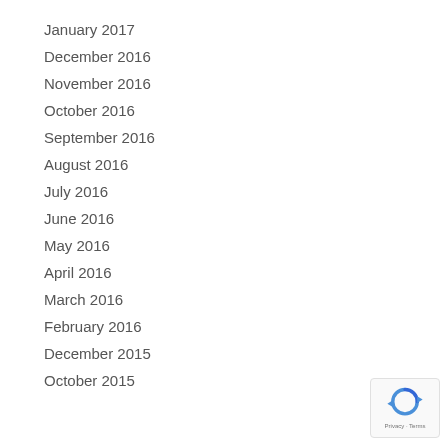January 2017
December 2016
November 2016
October 2016
September 2016
August 2016
July 2016
June 2016
May 2016
April 2016
March 2016
February 2016
December 2015
October 2015
[Figure (logo): Google reCAPTCHA badge with Privacy and Terms text]